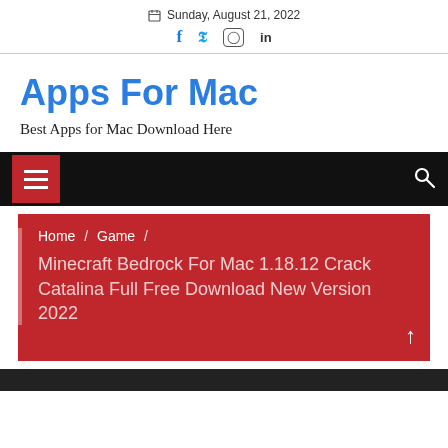Sunday, August 21, 2022
Apps For Mac
Best Apps for Mac Download Here
[Figure (screenshot): Black navigation bar with red hamburger menu button on left and white search icon on right]
Home / Game / Minecraft Bedrock For Mac 1.18.12 Crack Catalina Full Free Download New Version 2022